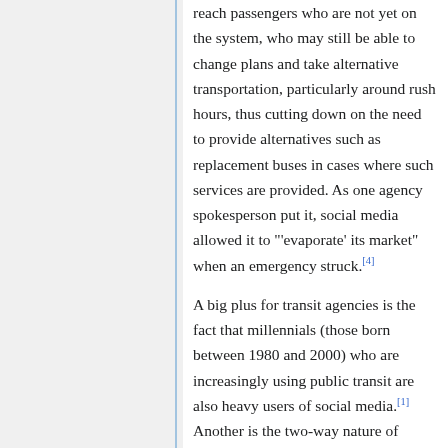reach passengers who are not yet on the system, who may still be able to change plans and take alternative transportation, particularly around rush hours, thus cutting down on the need to provide alternatives such as replacement buses in cases where such services are provided. As one agency spokesperson put it, social media allowed it to "'evaporate' its market" when an emergency struck.[4]
A big plus for transit agencies is the fact that millennials (those born between 1980 and 2000) who are increasingly using public transit are also heavy users of social media.[1] Another is the two-way nature of communication allowing agencies to respond to consumer questions and to send and obtain RTI about conditions on the system, as well